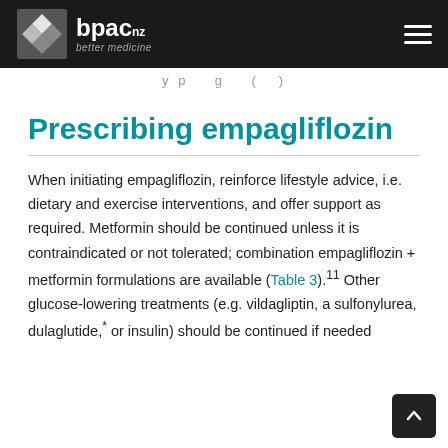bpac nz — better medicine
y p g ( )
Prescribing empagliflozin
When initiating empagliflozin, reinforce lifestyle advice, i.e. dietary and exercise interventions, and offer support as required. Metformin should be continued unless it is contraindicated or not tolerated; combination empagliflozin + metformin formulations are available (Table 3).11 Other glucose-lowering treatments (e.g. vildagliptin, a sulfonylurea, dulaglutide,* or insulin) should be continued if needed.